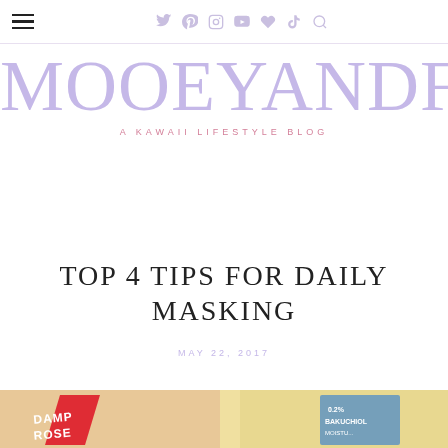MOOEYANDFRIENDSCOM navigation with hamburger menu and social icons (Twitter, Pinterest, Instagram, YouTube, heart, TikTok, search)
MOOEYANDFRIENDSENDS
A KAWAII LIFESTYLE BLOG
TOP 4 TIPS FOR DAILY MASKING
MAY 22, 2017
[Figure (photo): Partial photo at bottom of page showing skincare product packaging including Damrose and another blue-labeled product]